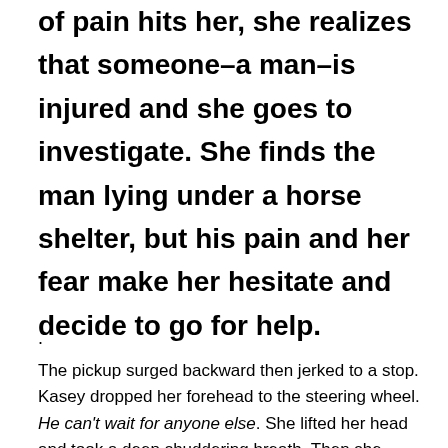of pain hits her, she realizes that someone–a man–is injured and she goes to investigate. She finds the man lying under a horse shelter, but his pain and her fear make her hesitate and decide to go for help.
.
The pickup surged backward then jerked to a stop. Kasey dropped her forehead to the steering wheel. He can't wait for anyone else. She lifted her head and took a deep shuddering breath. Then she visualized a golden ball of